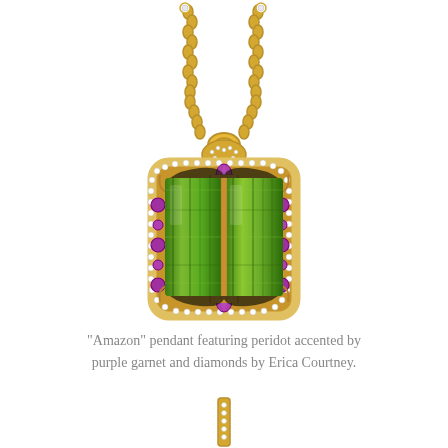[Figure (photo): A luxury jewelry pendant called 'Amazon' hanging on a gold chain. The pendant features a large rectangular peridot (bright green gemstone) set in gold, surrounded by an ornate frame with purple garnet accents and diamonds. The setting has elaborate decorative metalwork.]
“Amazon” pendant featuring peridot accented by purple garnet and diamonds by Erica Courtney.
[Figure (photo): Partial view of another jewelry piece at the bottom of the page, showing what appears to be gold chain or earring detail.]